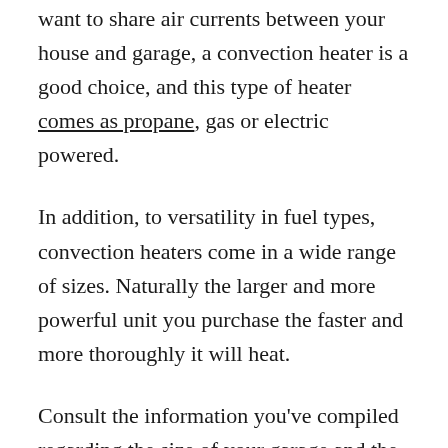want to share air currents between your house and garage, a convection heater is a good choice, and this type of heater comes as propane, gas or electric powered.
In addition, to versatility in fuel types, convection heaters come in a wide range of sizes. Naturally the larger and more powerful unit you purchase the faster and more thoroughly it will heat.
Consult the information you've compiled regarding the size of your garage and the degree of cold you're dealing with when choosing a convection heater.